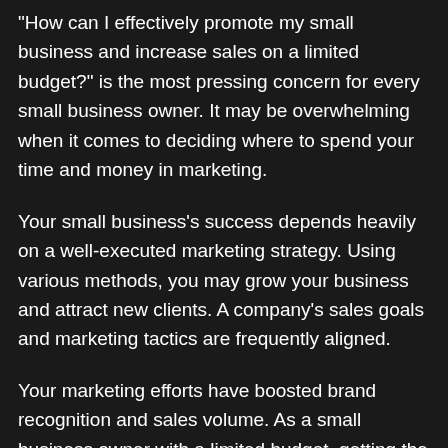“How can I effectively promote my small business and increase sales on a limited budget?” is the most pressing concern for every small business owner. It may be overwhelming when it comes to deciding where to spend your time and money in marketing.
Your small business’s success depends heavily on a well-executed marketing strategy. Using various methods, you may grow your business and attract new clients. A company’s sales goals and marketing tactics are frequently aligned.
Your marketing efforts have boosted brand recognition and sales volume. As a small business owner with a limited budget, getting the word out about your company can be challenging. Keep in contact with your target audience...